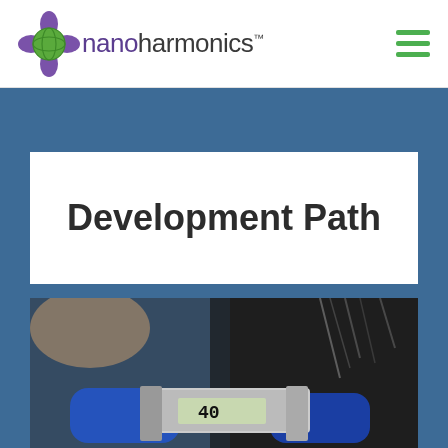[Figure (logo): NanoHarmonics logo with purple molecule icon and green/grey text]
[Figure (illustration): Hamburger menu icon with three green horizontal lines]
Development Path
[Figure (photo): Close-up photo of a person in blue gloves using a digital caliper measuring a component, reading approximately 40, with metallic equipment in background]